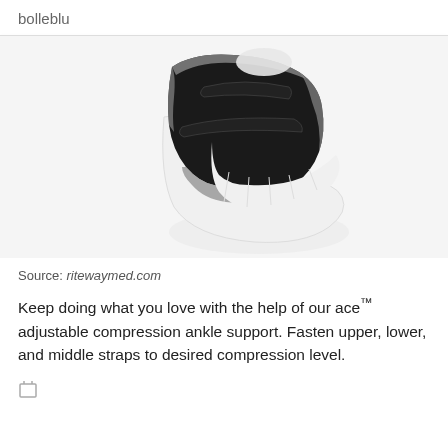bolleblu
[Figure (photo): A black neoprene adjustable compression ankle support brace with gray trim worn over a white sock, shown on a foot/ankle, product photo on white background.]
Source: ritewaymed.com
Keep doing what you love with the help of our ace™ adjustable compression ankle support. Fasten upper, lower, and middle straps to desired compression level.